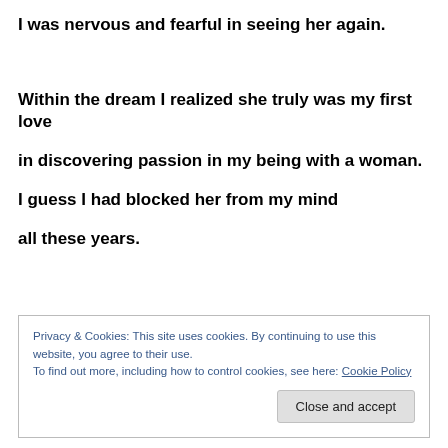I was nervous and fearful in seeing her again.
Within the dream I realized she truly was my first love in discovering passion in my being with a woman.
I guess I had blocked her from my mind all these years.
Privacy & Cookies: This site uses cookies. By continuing to use this website, you agree to their use. To find out more, including how to control cookies, see here: Cookie Policy
Close and accept